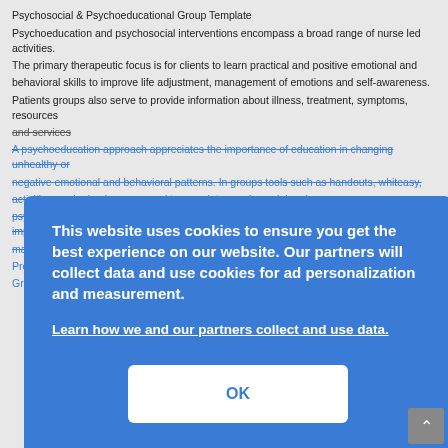Psychosocial & Psychoeducational Group Template
Psychoeducation and psychosocial interventions encompass a broad range of nurse led activities.
The primary therapeutic focus is for clients to learn practical and positive emotional and
behavioral skills to improve life adjustment, management of emotions and self-awareness.
Patients groups also serve to provide information about illness, treatment, symptoms, resources
and services
A psychoeducation approach appreciates the importance of education in changing unhealthy or
negative emotional and behavioral patterns. In groups tools such as handouts, whiteasy,
activities, and role plays are used to complete psychosocial and psychoeducational goals for
clients the opportunity to learn life skills, feel empowered, improve their health and effectively
manage their illness.
Pre Group Planning
Group Facilitator Student Names: Christine Rombawa and Anthony Paguyo
This website uses cookies to ensure you get the best experience on our website. Our partners will collect data and use cookies for ad personalization and measurement.
Learn how we and our partners collect and use data.
OK